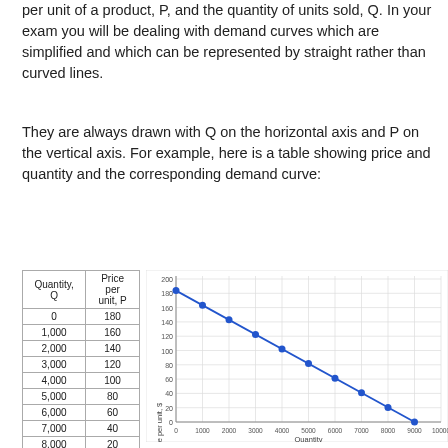per unit of a product, P, and the quantity of units sold, Q. In your exam you will be dealing with demand curves which are simplified and which can be represented by straight rather than curved lines.
They are always drawn with Q on the horizontal axis and P on the vertical axis. For example, here is a table showing price and quantity and the corresponding demand curve:
| Quantity, Q | Price per unit, P |
| --- | --- |
| 0 | 180 |
| 1,000 | 160 |
| 2,000 | 140 |
| 3,000 | 120 |
| 4,000 | 100 |
| 5,000 | 80 |
| 6,000 | 60 |
| 7,000 | 40 |
| 8,000 | 20 |
| 9,000 | 0 |
[Figure (scatter-plot): ]